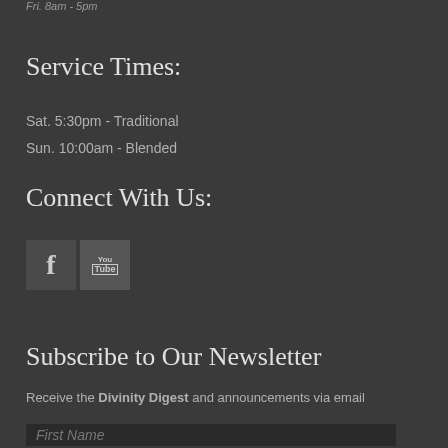Fri. 8am - 5pm
Service Times:
Sat. 5:30pm - Traditional
Sun. 10:00am - Blended
Connect With Us:
[Figure (logo): Facebook icon - dark square with stylized lowercase f]
[Figure (logo): YouTube icon - dark square with You Tube text in a box]
Subscribe to Our Newsletter
Receive the Divinity Digest and announcements via email
First Name